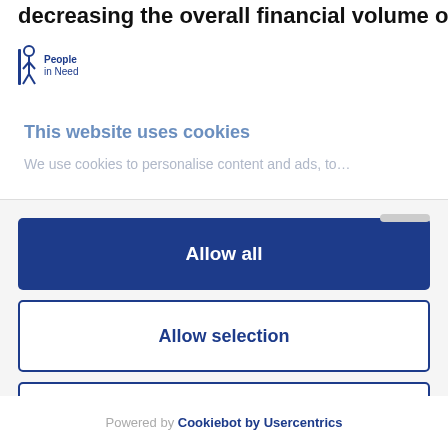decreasing the overall financial volume of
[Figure (logo): People in Need organization logo — stylized figure icon in blue with text 'People in Need']
This website uses cookies
We use cookies to personalise content and ads, to...
Allow all
Allow selection
Deny
Powered by Cookiebot by Usercentrics